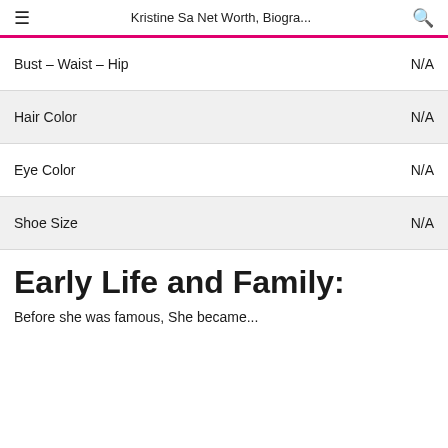Kristine Sa Net Worth, Biogra...
|  |  |
| --- | --- |
| Bust – Waist – Hip | N/A |
| Hair Color | N/A |
| Eye Color | N/A |
| Shoe Size | N/A |
Early Life and Family:
Before she was famous, She became...